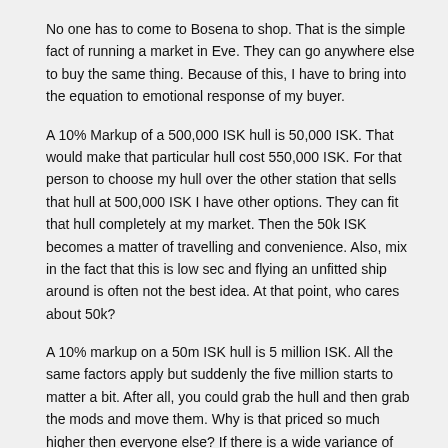No one has to come to Bosena to shop. That is the simple fact of running a market in Eve. They can go anywhere else to buy the same thing. Because of this, I have to bring into the equation to emotional response of my buyer.
A 10% Markup of a 500,000 ISK hull is 50,000 ISK. That would make that particular hull cost 550,000 ISK. For that person to choose my hull over the other station that sells that hull at 500,000 ISK I have other options. They can fit that hull completely at my market. Then the 50k ISK becomes a matter of travelling and convenience. Also, mix in the fact that this is low sec and flying an unfitted ship around is often not the best idea. At that point, who cares about 50k?
A 10% markup on a 50m ISK hull is 5 million ISK. All the same factors apply but suddenly the five million starts to matter a bit. After all, you could grab the hull and then grab the mods and move them. Why is that priced so much higher then everyone else? If there is a wide variance of prices up and down that is one thing. If there is not and one price glows 5 million over every other listed prices, people start to go, "hmm."
A 20% markup, a markup considered acceptable because of 'low sec' is 10 million ISK. Now we are looking at 1/5th of the cheaper hull cost in markup...